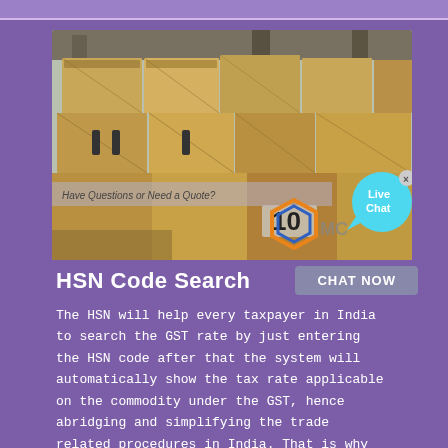[Figure (photo): Photograph of industrial wooden crates/packaging in a warehouse, with an AMC logo overlay and 'Have Questions or Need a Quote?' text, and a Live Chat bubble in the top right corner of the image.]
HSN Code Search
The HSN will help every taxpayer in India to search the GST rate by just entering the HSN code after that the system will automatically show the tax rate applicable on the commodity under the GST, hence abridging and simplifying the trade related procedures in India. That is why it is mandatory to mention the correct HSN codes during the GST.